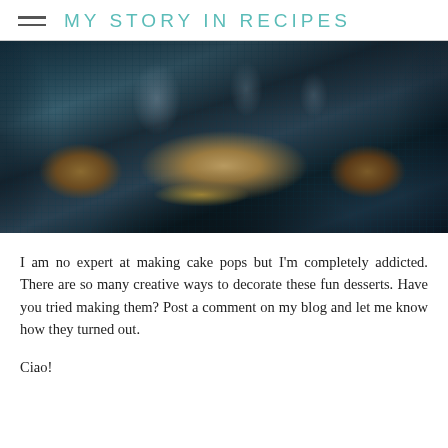MY STORY IN RECIPES
[Figure (photo): Cake pops displayed in teal woven baskets wrapped in clear cellophane and tied with dark blue ribbon, surrounded by raffia/straw decoration, photographed from above at an angle in moody dark lighting.]
I am no expert at making cake pops but I'm completely addicted.  There are so many creative ways to decorate these fun desserts.  Have you tried making them?  Post a comment on my blog and let me know how they turned out.
Ciao!